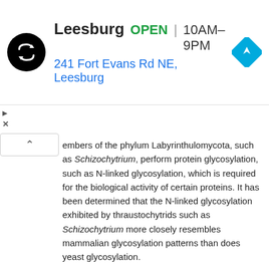[Figure (screenshot): Advertisement banner for a store location: circular black logo with double-arrow symbol, text 'Leesburg OPEN 10AM-9PM' and address '241 Fort Evans Rd NE, Leesburg', blue diamond navigation icon on the right. Small triangle and X ad markers on the left.]
embers of the phylum Labyrinthulomycota, such as Schizochytrium, perform protein glycosylation, such as N-linked glycosylation, which is required for the biological activity of certain proteins. It has been determined that the N-linked glycosylation exhibited by thraustochytrids such as Schizochytrium more closely resembles mammalian glycosylation patterns than does yeast glycosylation.
Effective culture conditions for a host cell of the invention include, but are not limited to, effective media, bioreactor, temperature, pH, and oxygen conditions that permit protein production and/or recombination. An effective medium refers to any medium in which a microalgal cell, such as a Thraustochytriales cell, e.g., a Schizochytrium host cell, is typically cultured. Such medium typically comprises an aqueous medium having assimilable carbon, nitrogen, and phosphate sources, as well as appropriate salts, minerals, metals, and other nutrients, such as vitamins. Non-limiting examples of suitable media and culture conditions are disclosed in the Examples section. Non-limiting culture conditions suitable for Thraustochytriales microorganisms are also described in U.S. Pat. No.